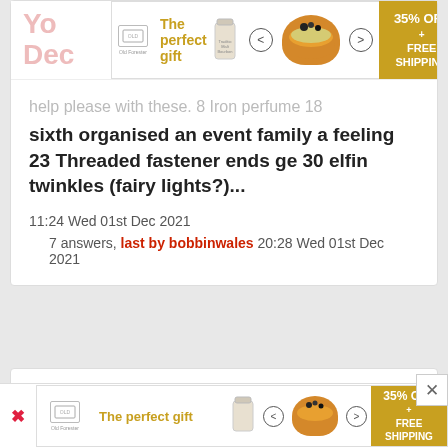[Figure (screenshot): Advertisement banner: The perfect gift with bowl image and 35% OFF + FREE SHIPPING offer]
help please with these. 8 Iron perfume 18
sixth organised an event family a feeling 23 Threaded fastener ends ge 30 elfin twinkles (fairy lights?)...
11:24 Wed 01st Dec 2021
7 answers, last by bobbinwales 20:28 Wed 01st Dec 2021
[Figure (screenshot): Second card with pink group icon avatar]
[Figure (screenshot): Bottom advertisement banner: The perfect gift with bowl image and 35% OFF + FREE SHIPPING offer]